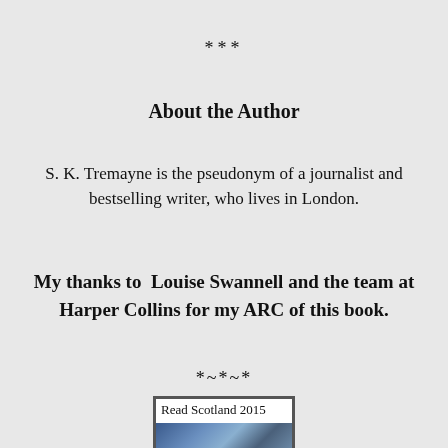***
About the Author
S. K. Tremayne is the pseudonym of a journalist and bestselling writer, who lives in London.
My thanks to  Louise Swannell and the team at Harper Collins for my ARC of this book.
*~*~*
[Figure (other): Book badge image with text 'Read Scotland 2015' and a scenic landscape at the bottom]